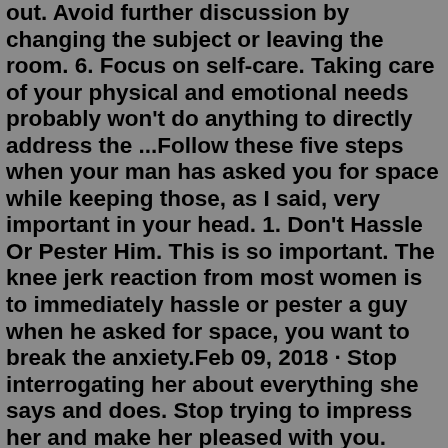out. Avoid further discussion by changing the subject or leaving the room. 6. Focus on self-care. Taking care of your physical and emotional needs probably won't do anything to directly address the ...Follow these five steps when your man has asked you for space while keeping those, as I said, very important in your head. 1. Don't Hassle Or Pester Him. This is so important. The knee jerk reaction from most women is to immediately hassle or pester a guy when he asked for space, you want to break the anxiety.Feb 09, 2018 · Stop interrogating her about everything she says and does. Stop trying to impress her and make her pleased with you. Stop reacting to everything from a place of resentment and anger. Stop texting ... Jul 25, 2018 · Then space is well needed but also being honest and open with yourself knowing when to end the relationship and not hanging on because there is guilt. When couples do this, they end up having a significant amount of resentment towards them. So, at this point be clear about your expectations within yourself and also towards your partner. Someone who